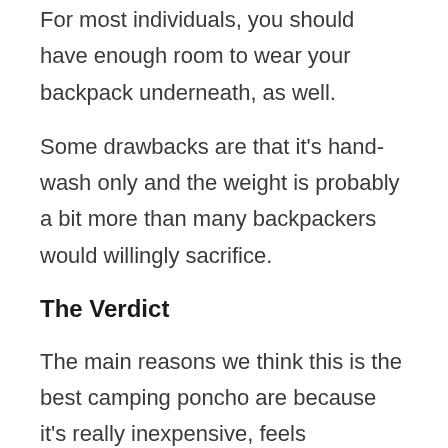For most individuals, you should have enough room to wear your backpack underneath, as well.
Some drawbacks are that it's hand-wash only and the weight is probably a bit more than many backpackers would willingly sacrifice.
The Verdict
The main reasons we think this is the best camping poncho are because it's really inexpensive, feels comfortable, keeps you